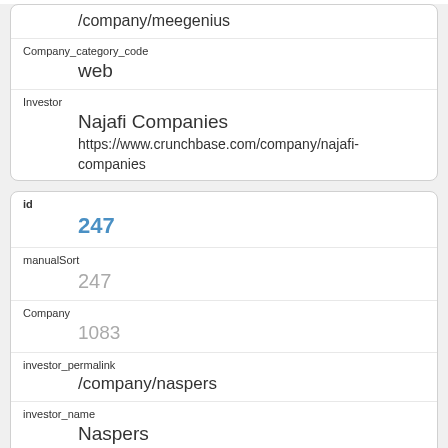/company/meegenius
Company_category_code: web
Investor: Najafi Companies, https://www.crunchbase.com/company/najafi-companies
id: 247
manualSort: 247
Company: 1083
investor_permalink: /company/naspers
investor_name: Naspers
investor_category_code: public_relations